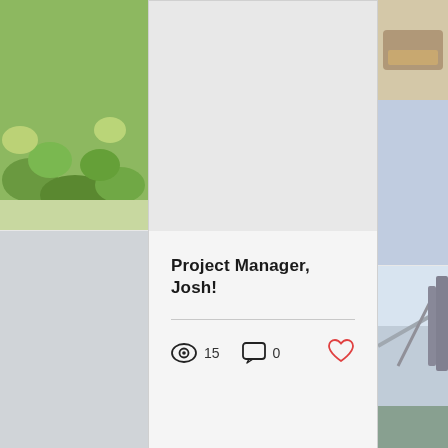[Figure (photo): Left side photo strip showing green garden/landscape at top]
Project Manager, Josh!
15 views · 0 comments · like button
[Figure (photo): Right side photo strip showing craft/food items at top and bridge/infrastructure at bottom]
[Figure (other): Pagination indicator dots: one blue active dot and two grey inactive dots, plus scroll-to-top chevron button]